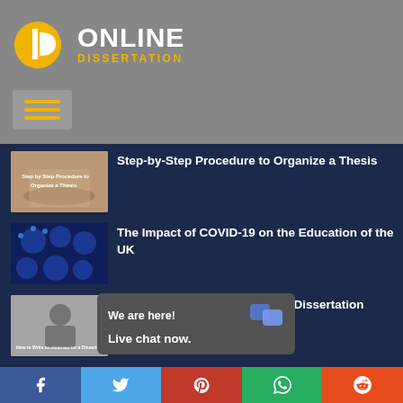[Figure (logo): Online Dissertation logo with yellow circular icon and white D, with ONLINE in white bold and DISSERTATION in yellow]
[Figure (other): Hamburger menu icon with three yellow lines on gray background]
[Figure (photo): Thumbnail image for Step-by-Step Procedure to Organize a Thesis article]
Step-by-Step Procedure to Organize a Thesis
[Figure (photo): Thumbnail image of blue virus cells for COVID-19 article]
The Impact of COVID-19 on the Education of the UK
[Figure (photo): Thumbnail image of man writing for dissertation abstract article]
How to Write an Abstract for a Dissertation
We are here! Live chat now.
[Figure (other): Social media share bar with Facebook, Twitter, Pinterest, WhatsApp, Reddit buttons]